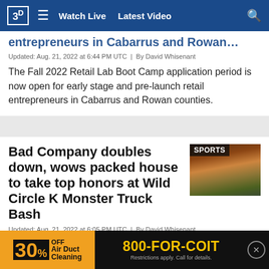Watch Live | Latest Video
entrepreneurs in Cabarrus and Rowan…
Updated: Aug. 21, 2022 at 6:44 PM UTC  |  By David Whisenant
The Fall 2022 Retail Lab Boot Camp application period is now open for early stage and pre-launch retail entrepreneurs in Cabarrus and Rowan counties.
Bad Company doubles down, wows packed house to take top honors at Wild Circle K Monster Truck Bash
[Figure (photo): Sports thumbnail showing monster truck at dirt track]
Updated: Aug. 21, 2022 at 6:05 PM UTC  |  By David Whisenant
For the second consecutive year, it was good to be Bad at the Circle K Monster Truck Bash at The Dirt Track at Charl… in the head-… ht's
[Figure (infographic): Advertisement: 30% OFF Air Duct Cleaning - 800-FOR-COIT. Restrictions apply. Call for details.]